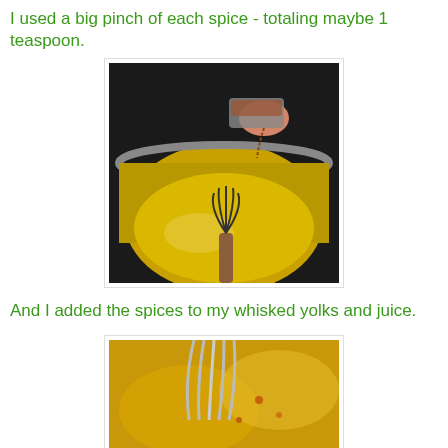I used a big pinch of each spice - totaling maybe 1 teaspoon.
[Figure (photo): A hand tapping a small container of spices into a saucepan containing yellow sauce being whisked, on a stovetop.]
And I added the spices to my whisked yolks and juice.
[Figure (photo): Close-up of a whisk in a pan of yellow egg yolk and juice mixture with spices.]